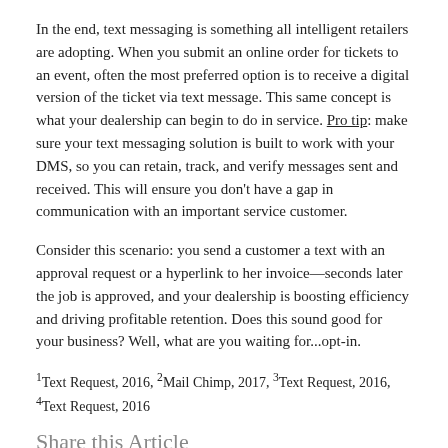In the end, text messaging is something all intelligent retailers are adopting. When you submit an online order for tickets to an event, often the most preferred option is to receive a digital version of the ticket via text message. This same concept is what your dealership can begin to do in service. Pro tip: make sure your text messaging solution is built to work with your DMS, so you can retain, track, and verify messages sent and received. This will ensure you don't have a gap in communication with an important service customer.
Consider this scenario: you send a customer a text with an approval request or a hyperlink to her invoice—seconds later the job is approved, and your dealership is boosting efficiency and driving profitable retention. Does this sound good for your business? Well, what are you waiting for...opt-in.
1Text Request, 2016, 2Mail Chimp, 2017, 3Text Request, 2016, 4Text Request, 2016
Share this Article